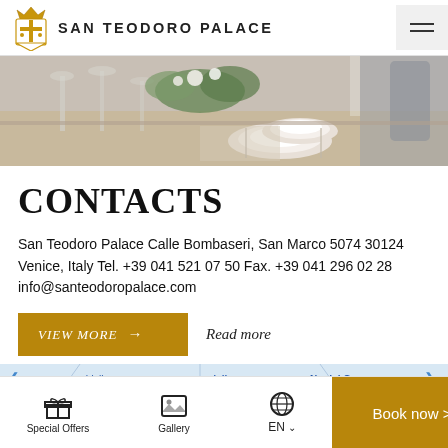SAN TEODORO PALACE
[Figure (photo): Elegantly set dining table with white plates, wine glasses, and floral centerpiece in a restaurant setting]
CONTACTS
San Teodoro Palace Calle Bombaseri, San Marco 5074 30124 Venice, Italy Tel. +39 041 521 07 50 Fax. +39 041 296 02 28 info@santeodoropalace.com
VIEW MORE → Read more
[Figure (map): Partial street map showing Campodella area in Venice]
Special Offers | Gallery | EN | Book now >